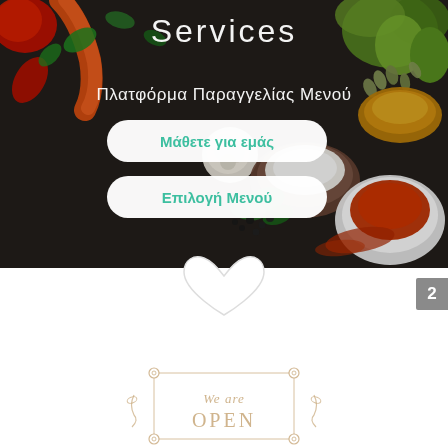[Figure (photo): Hero image with spices and vegetables background - red peppers, garlic, cardamom, turmeric powder, paprika in bowls on dark slate surface]
Services
Πλατφόρμα Παραγγελίας Μενού
Μάθετε για εμάς
Επιλογή Μενού
[Figure (illustration): Heart shape outline at transition between hero image and white section]
2
[Figure (illustration): We are Open decorative sign with hand-drawn frame and cursive text]